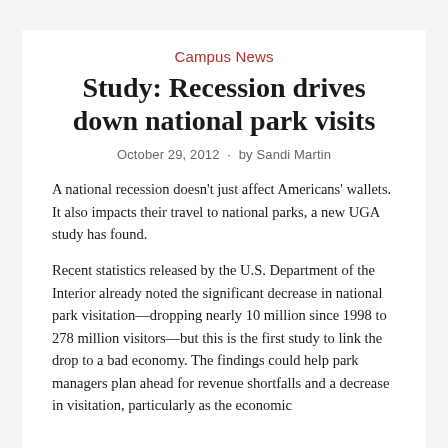Campus News
Study: Recession drives down national park visits
October 29, 2012 · by Sandi Martin
A national recession doesn't just affect Americans' wallets. It also impacts their travel to national parks, a new UGA study has found.
Recent statistics released by the U.S. Department of the Interior already noted the significant decrease in national park visitation—dropping nearly 10 million since 1998 to 278 million visitors—but this is the first study to link the drop to a bad economy. The findings could help park managers plan ahead for revenue shortfalls and a decrease in visitation, particularly as the economic